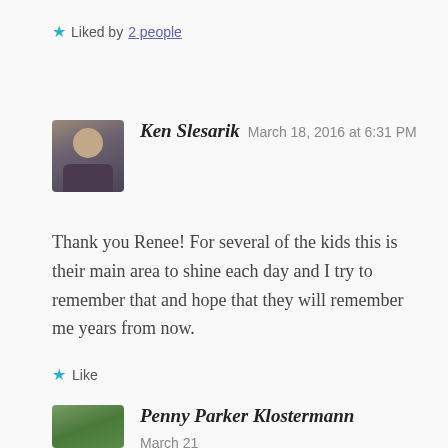★ Liked by 2 people
Ken Slesarik   March 18, 2016 at 6:31 PM
Thank you Renee! For several of the kids this is their main area to shine each day and I try to remember that and hope that they will remember me years from now.
★ Like
Penny Parker Klostermann   March 21